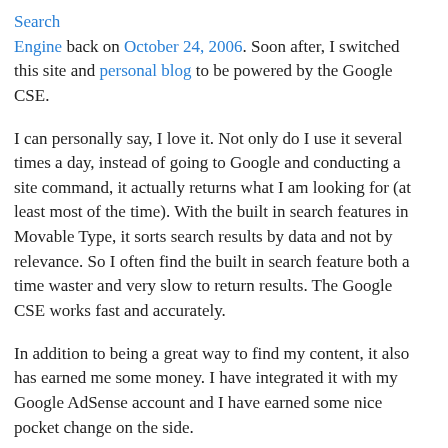Search Engine back on October 24, 2006. Soon after, I switched this site and personal blog to be powered by the Google CSE.
I can personally say, I love it. Not only do I use it several times a day, instead of going to Google and conducting a site command, it actually returns what I am looking for (at least most of the time). With the built in search features in Movable Type, it sorts search results by data and not by relevance. So I often find the built in search feature both a time waster and very slow to return results. The Google CSE works fast and accurately.
In addition to being a great way to find my content, it also has earned me some money. I have integrated it with my Google AdSense account and I have earned some nice pocket change on the side.
They have a great support staff in the Google Custom Search Google Groups discussion forum, to answer your questions also.
I am not the only one in love with the Google CSE. A DigitalPoint Forums thread has a few people praising Google over it.